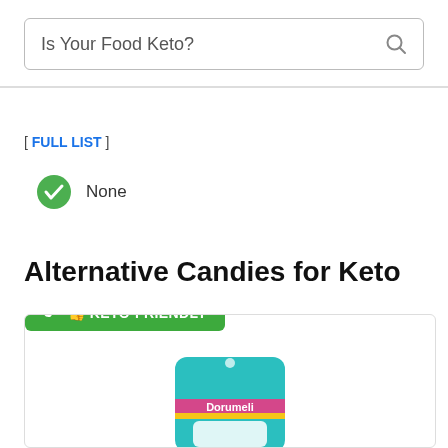Is Your Food Keto?
[ FULL LIST ]
None
Alternative Candies for Keto
👍 KETO-FRIENDLY
[Figure (photo): Product image of a teal candy bag with pink and yellow branding, showing 'Dorumeli' brand candy packaging]